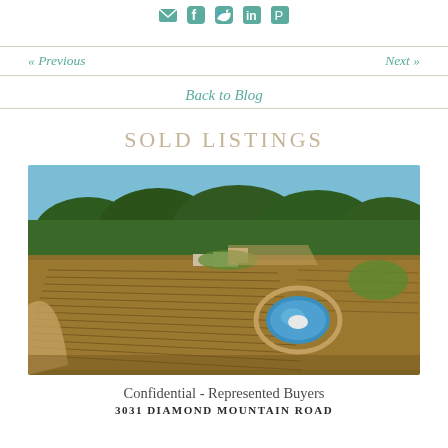[Social icons: email, Facebook, Twitter, LinkedIn, Pinterest]
« Previous   Next »
Back to Blog
SOLD LISTINGS
[Figure (photo): Aerial drone photo of a vineyard estate with rows of grapevines, a circular blue water reservoir/pond, buildings, and surrounding dense green forest. A curved road runs along the left edge.]
Confidential - Represented Buyers
3031 DIAMOND MOUNTAIN ROAD